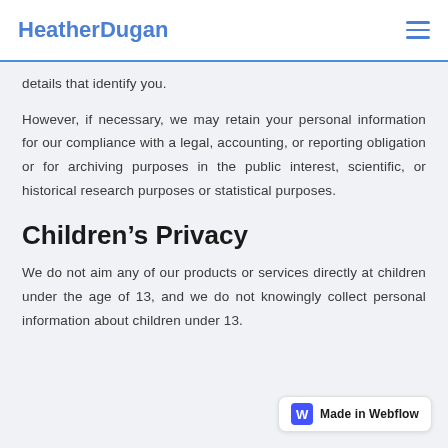HeatherDugan
details that identify you.
However, if necessary, we may retain your personal information for our compliance with a legal, accounting, or reporting obligation or for archiving purposes in the public interest, scientific, or historical research purposes or statistical purposes.
Children’s Privacy
We do not aim any of our products or services directly at children under the age of 13, and we do not knowingly collect personal information about children under 13.